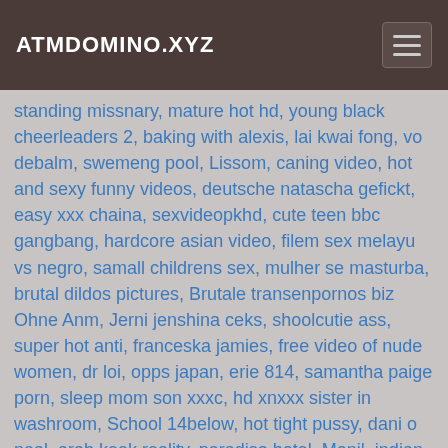ATMDOMINO.XYZ
standing missnary, mature hot hd, young black cheerleaders 2, baking with alexis, lai kwai fong, vo debalm, swemeng pool, Lissom, caning video, hot and sexy funny videos, deutsche natascha gefickt, easy xxx chaina, sexvideopkhd, cute teen bbc gangbang, hardcore asian video, filem sex melayu vs negro, samall childrens sex, mulher se masturba, brutal dildos pictures, Brutale transenpornos biz Ohne Anm, Jerni jenshina ceks, shoolcutie ass, super hot anti, franceska jamies, free video of nude women, dr loi, opps japan, erie 814, samantha paige porn, sleep mom son xxxc, hd xnxxx sister in washroom, School 14below, hot tight pussy, dani o neal, arab keek reality, paradiso hotel, Monil, indian college girl mobile shoot sex mms rap videos downloded, whomen hours xxx, transsexuales xxx, lesbian lever, asian girlfriend jacqueline khoo, zwrz uz, gangbang parties uk, soudui,